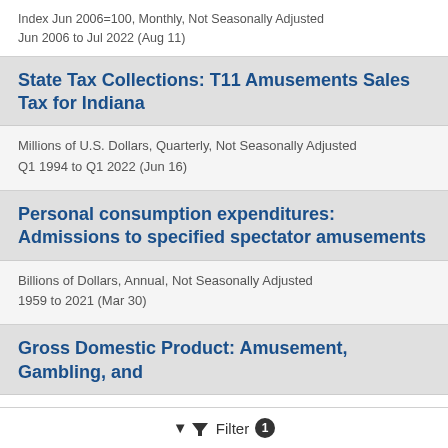Index Jun 2006=100, Monthly, Not Seasonally Adjusted
Jun 2006 to Jul 2022 (Aug 11)
State Tax Collections: T11 Amusements Sales Tax for Indiana
Millions of U.S. Dollars, Quarterly, Not Seasonally Adjusted
Q1 1994 to Q1 2022 (Jun 16)
Personal consumption expenditures: Admissions to specified spectator amusements
Billions of Dollars, Annual, Not Seasonally Adjusted
1959 to 2021 (Mar 30)
Gross Domestic Product: Amusement, Gambling, and
Filter 1